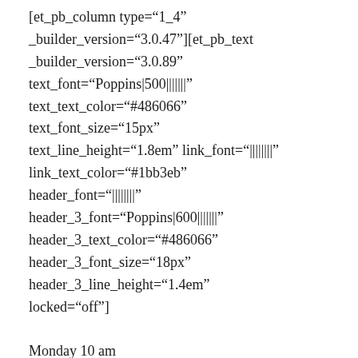[et_pb_column type="1_4" _builder_version="3.0.47"][et_pb_text _builder_version="3.0.89" text_font="Poppins|500|||||||" text_text_color="#486066" text_font_size="15px" text_line_height="1.8em" link_font="||||||||" link_text_color="#1bb3eb" header_font="||||||||" header_3_font="Poppins|600|||||||" header_3_text_color="#486066" header_3_font_size="18px" header_3_line_height="1.4em" locked="off"]
Monday 10 am